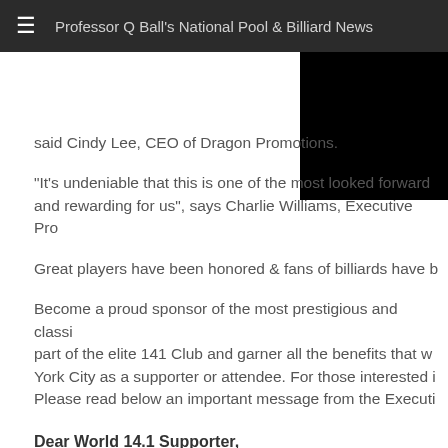≡  Professor Q Ball's National Pool & Billiard News
said Cindy Lee, CEO of Dragon Promotions.
“It’s undeniable that this is one of the most looked forward and rewarding for us”, says Charlie Williams, Executive Pro
Great players have been honored & fans of billiards have b
Become a proud sponsor of the most prestigious and classi part of the elite 141 Club and garner all the benefits that w York City as a supporter or attendee. For those interested i Please read below an important message from the Executi
Dear World 14.1 Supporter,